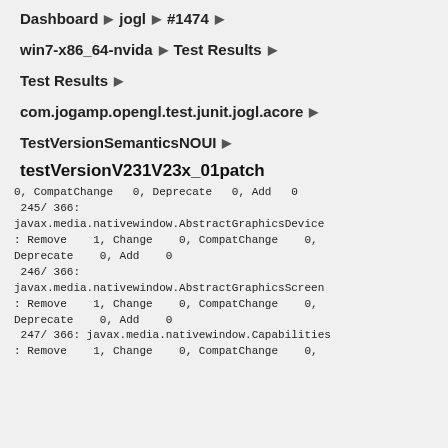Dashboard ▶ jogl ▶ #1474 ▶
win7-x86_64-nvida ▶ Test Results ▶
Test Results ▶
com.jogamp.opengl.test.junit.jogl.acore ▶
TestVersionSemanticsNOUI ▶
testVersionV231V23x_01patch
0, CompatChange   0, Deprecate   0, Add   0
 245/ 366:
java.media.nativewindow.AbstractGraphicsDevice
: Remove    1, Change    0, CompatChange    0,
Deprecate    0, Add    0
 246/ 366:
java.media.nativewindow.AbstractGraphicsScreen
: Remove    1, Change    0, CompatChange    0,
Deprecate    0, Add    0
 247/ 366: javax.media.nativewindow.Capabilities
: Remove    1, Change    0, CompatChange    0,